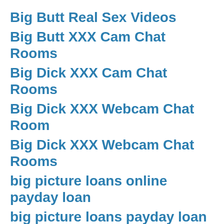Big Butt Real Sex Videos
Big Butt XXX Cam Chat Rooms
Big Dick XXX Cam Chat Rooms
Big Dick XXX Webcam Chat Room
Big Dick XXX Webcam Chat Rooms
big picture loans online payday loan
big picture loans payday loan online
Big Tits Webcam Chat Room
Big Tits XXX Live Video